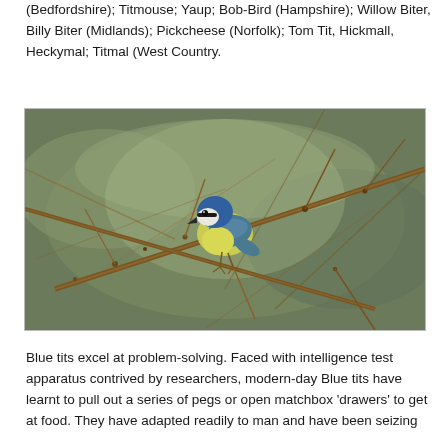(Bedfordshire); Titmouse; Yaup; Bob-Bird (Hampshire); Willow Biter, Billy Biter (Midlands); Pickcheese (Norfolk); Tom Tit, Hickmall, Heckymal; Titmal (West Country.
[Figure (photo): A blue tit bird perched on a bare branch, facing slightly downward. The bird has a distinctive blue cap, white cheeks, and yellow-green underparts. The background shows a blurred network of twigs.]
Blue tits excel at problem-solving. Faced with intelligence test apparatus contrived by researchers, modern-day Blue tits have learnt to pull out a series of pegs or open matchbox 'drawers' to get at food. They have adapted readily to man and have been seizing